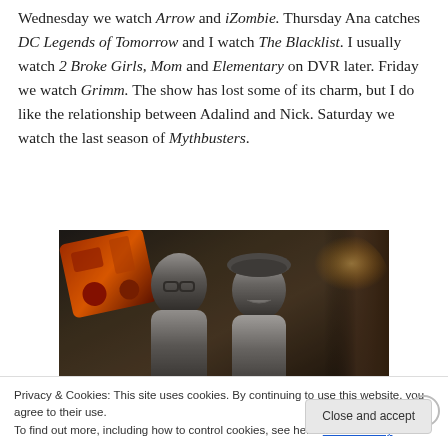Wednesday we watch Arrow and iZombie. Thursday Ana catches DC Legends of Tomorrow and I watch The Blacklist. I usually watch 2 Broke Girls, Mom and Elementary on DVR later. Friday we watch Grimm. The show has lost some of its charm, but I do like the relationship between Adalind and Nick. Saturday we watch the last season of Mythbusters.
[Figure (photo): Dark cinematic photo of two people (likely Adam Savage and Jamie Hyneman from Mythbusters) with orange machinery on the left and shelves in the background with a warm glow on the right.]
Privacy & Cookies: This site uses cookies. By continuing to use this website, you agree to their use.
To find out more, including how to control cookies, see here: Cookie Policy